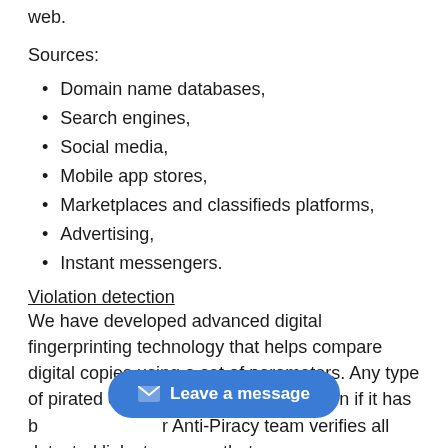web.
Sources:
Domain name databases,
Search engines,
Social media,
Mobile app stores,
Marketplaces and classifieds platforms,
Advertising,
Instant messengers.
Violation detection
We have developed advanced digital fingerprinting technology that helps compare digital copies using a set of parameters. Any type of pirated content can be detected, even if it has b[...] r Anti-Piracy team verifies all detected links to ensure that